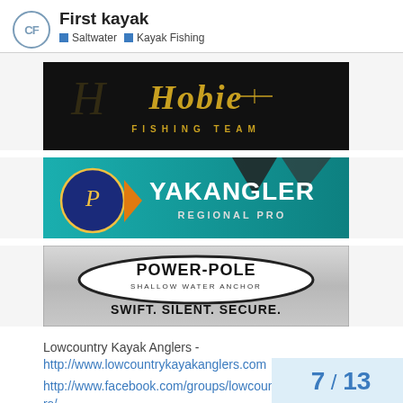First kayak
Saltwater  Kayak Fishing
[Figure (logo): Hobie Fishing Team logo - gold cursive Hobie text with fishing boat silhouette on black background, 'FISHING TEAM' text below]
[Figure (logo): YakAngler Regional Pro logo - teal background with shark fin silhouette, circular badge on left, bold white text 'YAKANGLER REGIONAL PRO']
[Figure (logo): Power-Pole Shallow Water Anchor logo - gray gradient background, oval black border with 'POWER-POLE SHALLOW WATER ANCHOR', tagline 'SWIFT. SILENT. SECURE.']
Lowcountry Kayak Anglers -
http://www.lowcountrykayakanglers.com

http://www.facebook.com/groups/lowcountrykayakanglers/
7 / 13